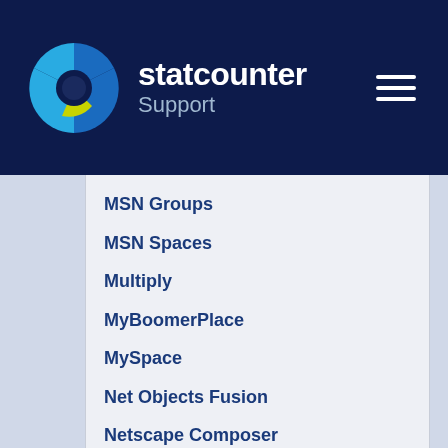statcounter Support
MSN Groups
MSN Spaces
Multiply
MyBoomerPlace
MySpace
Net Objects Fusion
Netscape Composer
NVU editor
OJS 3.1 (Open Journal System) Install Guide
Online Picture Proof
OpenCart